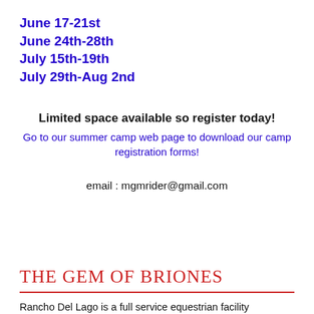June 17-21st
June 24th-28th
July 15th-19th
July 29th-Aug 2nd
Limited space available so register today!
Go to our summer camp web page to download our camp registration forms!
email : mgmrider@gmail.com
THE GEM OF BRIONES
Rancho Del Lago is a full service equestrian facility